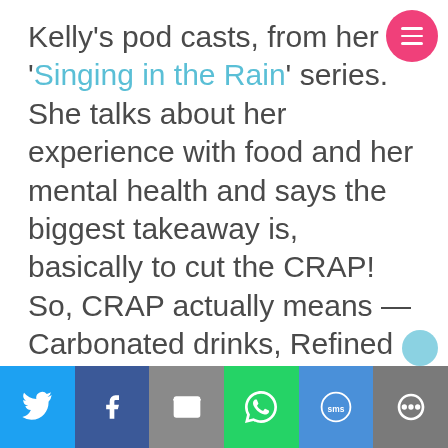Kelly's pod casts, from her 'Singing in the Rain' series. She talks about her experience with food and her mental health and says the biggest takeaway is, basically to cut the CRAP! So, CRAP actually means — Carbonated drinks, Refined sugars, Aspartame and additives and Processed meats and foods — while taking Omega 3 supplements and increasing your intake of probiotics and